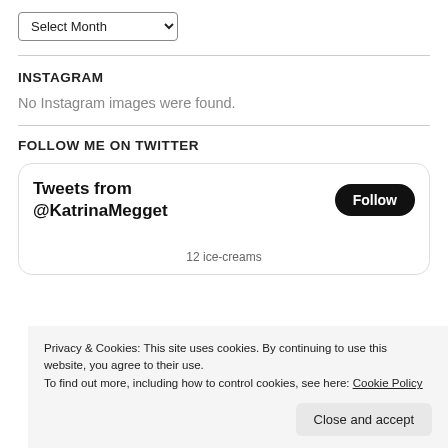[Figure (screenshot): A dropdown UI element labeled 'Select Month' with a chevron arrow]
INSTAGRAM
No Instagram images were found.
FOLLOW ME ON TWITTER
[Figure (screenshot): Twitter widget card showing 'Tweets from @KatrinaMegget' with a Follow button]
Privacy & Cookies: This site uses cookies. By continuing to use this website, you agree to their use.
To find out more, including how to control cookies, see here: Cookie Policy
Close and accept
12 ice-creams